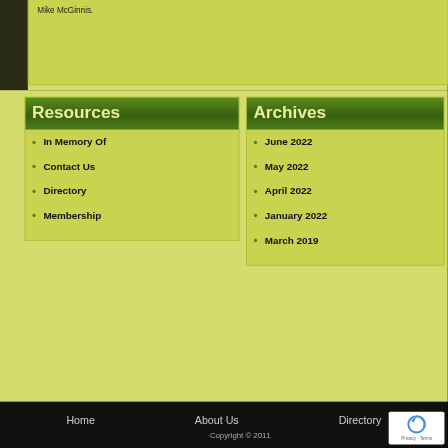Mike McGinnis.
Resources
In Memory Of
Contact Us
Directory
Membership
Archives
June 2022
May 2022
April 2022
January 2022
March 2019
Home   About Us   Directory   Copyright © 2011